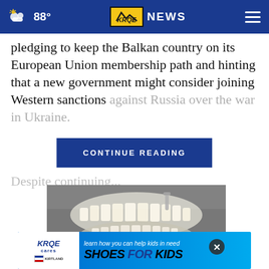KRQE NEWS | 88°
pledging to keep the Balkan country on its European Union membership path and hinting that a new government might consider joining Western sanctions against Russia over the war in Ukraine.
CONTINUE READING
Despite continuing...
[Figure (photo): Dental model showing teeth and jaw structure on a surface]
[Figure (infographic): KRQE Cares - Kirtland - learn how you can help kids in need - SHOES FOR KIDS advertisement banner]